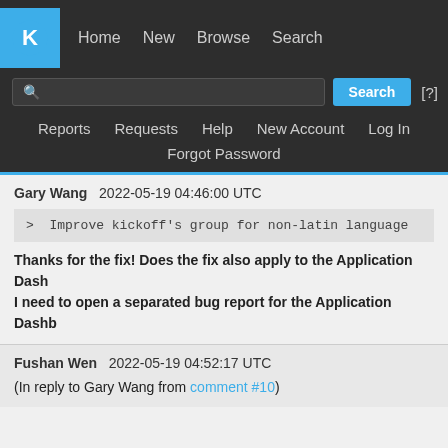KDE Bugtracker — Home  New  Browse  Search
Search  [?]
Reports  Requests  Help  New Account  Log In
Forgot Password
Gary Wang   2022-05-19 04:46:00 UTC
> Improve kickoff's group for non-latin language
Thanks for the fix! Does the fix also apply to the Application Dash...
I need to open a separated bug report for the Application Dashb...
Fushan Wen   2022-05-19 04:52:17 UTC
(In reply to Gary Wang from comment #10)